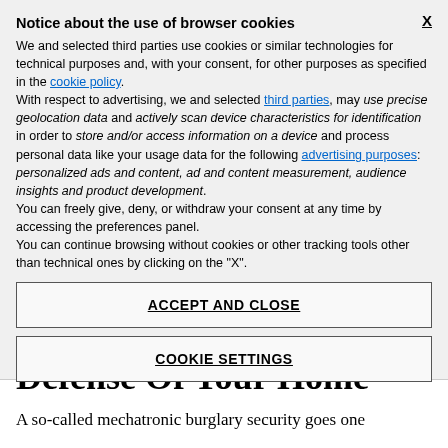Notice about the use of browser cookies
We and selected third parties use cookies or similar technologies for technical purposes and, with your consent, for other purposes as specified in the cookie policy. With respect to advertising, we and selected third parties, may use precise geolocation data and actively scan device characteristics for identification in order to store and/or access information on a device and process personal data like your usage data for the following advertising purposes: personalized ads and content, ad and content measurement, audience insights and product development. You can freely give, deny, or withdraw your consent at any time by accessing the preferences panel. You can continue browsing without cookies or other tracking tools other than technical ones by clicking on the "X".
ACCEPT AND CLOSE
COOKIE SETTINGS
Defense Of Your Home
A so-called mechatronic burglary security goes one